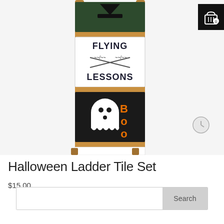[Figure (photo): Halloween Ladder Tile Set product photo showing a wooden ladder with decorative tiles. Top tile has dark background, second tile shows 'FLYING LESSONS' text with crossed broomsticks on white background, third tile shows a ghost with 'Boo' text on black background, fourth tile is a blank white tile. A shopping cart icon with '0' badge appears in the top right corner and a gray clock/share icon appears in the middle right area.]
Halloween Ladder Tile Set
$15.00
Search